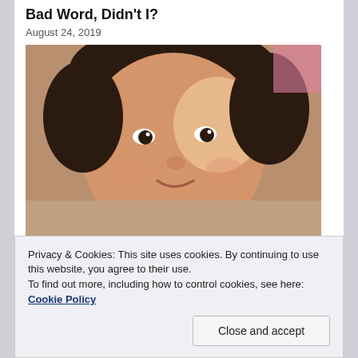Bad Word, Didn't I?
August 24, 2019
[Figure (photo): Close-up photo of a young Asian child with a slight smile, wearing a grey top, looking upward.]
Privacy & Cookies: This site uses cookies. By continuing to use this website, you agree to their use.
To find out more, including how to control cookies, see here: Cookie Policy
Close and accept